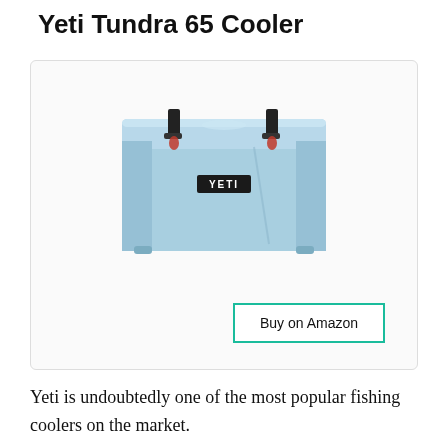Yeti Tundra 65 Cooler
[Figure (photo): Yeti Tundra 65 Cooler in light blue color, front view, showing the YETI logo badge on the front, two black latch handles on top, and rubber feet on the bottom.]
Buy on Amazon
Yeti is undoubtedly one of the most popular fishing coolers on the market.